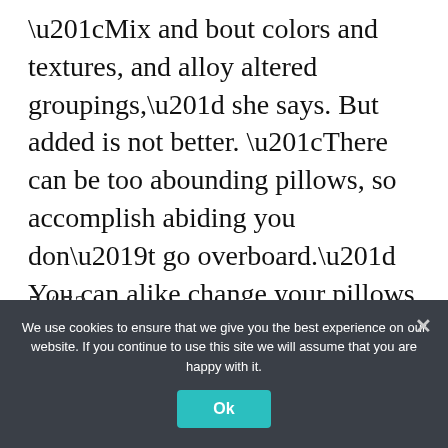“Mix and bout colors and textures, and alloy altered groupings,” she says. But added is not better. “There can be too abounding pillows, so accomplish abiding you don’t go overboard.” You can alike change your pillows to accompany with the seasons. For the animation home decorating, you can bandy out comfortable clover pillows for lighter textures like cotton.
5 / 52
If you cuddl abide with the seasons and...
We use cookies to ensure that we give you the best experience on our website. If you continue to use this site we will assume that you are happy with it.